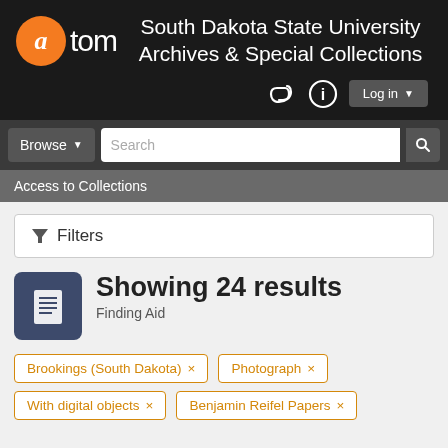South Dakota State University Archives & Special Collections
Access to Collections
Filters
Showing 24 results
Finding Aid
Brookings (South Dakota) ×
Photograph ×
With digital objects ×
Benjamin Reifel Papers ×